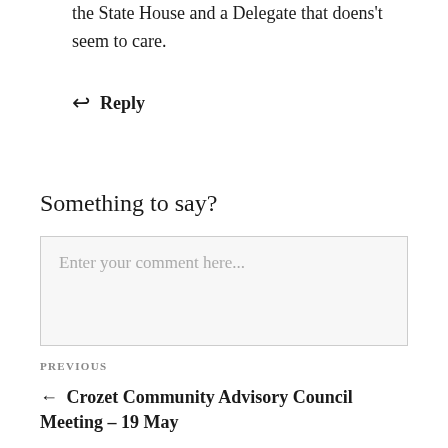the State House and a Delegate that doens't seem to care.
↩ Reply
Something to say?
Enter your comment here...
PREVIOUS
← Crozet Community Advisory Council Meeting – 19 May